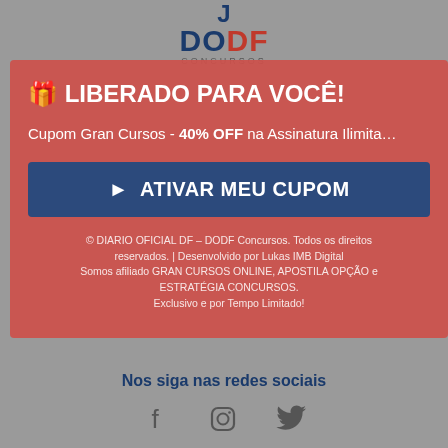[Figure (logo): DODF Concursos logo with stylized J above DODF text and CONCURSOS subtitle]
🎁 LIBERADO PARA VOCÊ!
Cupom Gran Cursos - 40% OFF na Assinatura Ilimitada
[Figure (other): ATIVAR MEU CUPOM button with play triangle icon]
© DIARIO OFICIAL DF - DODF Concursos. Todos os direitos reservados. | Desenvolvido por Lukas IMB Digital
Somos afiliado GRAN CURSOS ONLINE, APOSTILA OPÇÃO e ESTRATÉGIA CONCURSOS.
Exclusivo e por Tempo Limitado!
Nos siga nas redes sociais
[Figure (other): Social media icons: Facebook, Instagram, Twitter]